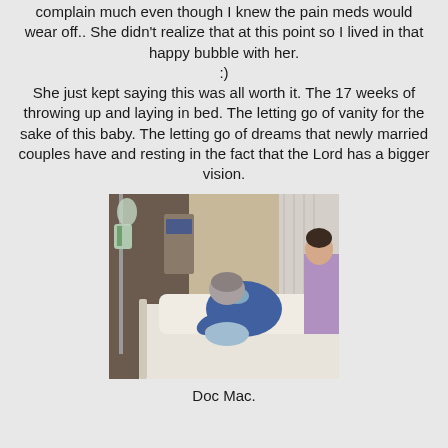complain much even though I knew the pain meds would wear off.. She didn't realize that at this point so I lived in that happy bubble with her.
:)
She just kept saying this was all worth it. The 17 weeks of throwing up and laying in bed. The letting go of vanity for the sake of this baby. The letting go of dreams that newly married couples have and resting in the fact that the Lord has a bigger vision.
[Figure (photo): A person in blue scrubs leaning over a hospital bed, bowing their head close to the patient. Medical equipment and IV stands visible in background. Another person in purple visible at right edge.]
Doc Mac.